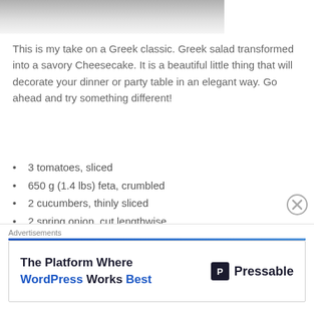[Figure (photo): Top portion of a food photo, grayscale/muted tones showing a dish]
This is my take on a Greek classic. Greek salad transformed into a savory Cheesecake. It is a beautiful little thing that will decorate your dinner or party table in an elegant way. Go ahead and try something different!
3 tomatoes, sliced
650 g (1.4 lbs) feta, crumbled
2 cucumbers, thinly sliced
2 spring onion, cut lengthwise
extra virgin olive oil
salt and pepper
1. You will need a cake ring. Place the ring on the serving plate and layer the tomato slices. Tuck them in nicely. 2-3 layers of
Advertisements
The Platform Where WordPress Works Best   P Pressable